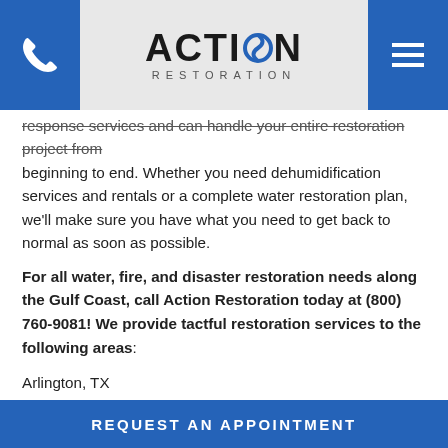[Figure (logo): Action Restoration logo with phone icon on left and hamburger menu on right in a grey header bar]
response services and can handle your entire restoration project from beginning to end. Whether you need dehumidification services and rentals or a complete water restoration plan, we'll make sure you have what you need to get back to normal as soon as possible.
For all water, fire, and disaster restoration needs along the Gulf Coast, call Action Restoration today at (800) 760-9081! We provide tactful restoration services to the following areas:
Arlington, TX
Austin, TX
Baton Rouge, LA
Beaumont, TX
Biloxi, MS
REQUEST AN APPOINTMENT